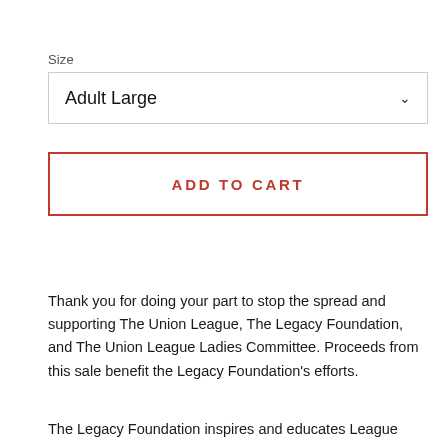Size
Adult Large
ADD TO CART
Thank you for doing your part to stop the spread and supporting The Union League, The Legacy Foundation, and The Union League Ladies Committee. Proceeds from this sale benefit the Legacy Foundation's efforts.
The Legacy Foundation inspires and educates League